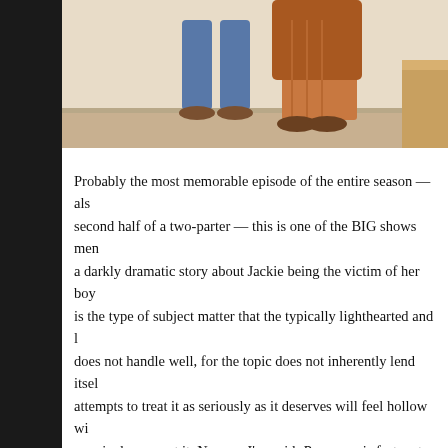[Figure (photo): Partial photo showing lower halves of people standing, visible legs and feet, one person in jeans and brown shoes, another in patterned pants, partial view of furniture in background]
Probably the most memorable episode of the entire season — also the second half of a two-parter — this is one of the BIG shows ment... a darkly dramatic story about Jackie being the victim of her boyf... is the type of subject matter that the typically lighthearted and lo... does not handle well, for the topic does not inherently lend itself... attempts to treat it as seriously as it deserves will feel hollow wit... genuinely support it. Now, as I've said, Roseanne is fortunate: it'... even amidst such tragedy, and also, its characters have accrued s... the show's earlier realism that they're able to make manipulative... least, right now. However, they can only go so far — this does re... indulgent and tonally incongruous with the series' status quo — ... like to see the central relationships reinforced (i.e., both Roseann... Jackie), this drama isn't caused by the leads or well-connected to... class realism (well, not explicitly), so I don't think it's a fit for R... it here because it's impossible to ignore, boasting some fine mom...